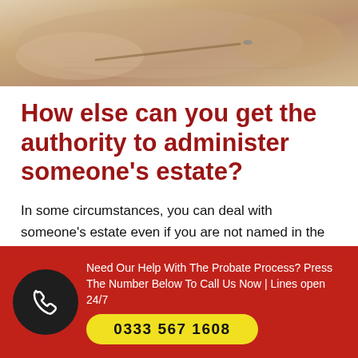[Figure (photo): Close-up photo of elderly hands writing with a pen on paper, with a gold ring visible on one hand.]
How else can you get the authority to administer someone's estate?
In some circumstances, you can deal with someone's estate even if you are not named in the will. If there is not a will, then the next of kin will need to apply for a 'grant of letters of
Need Our Help With The Probate Process? Press The Number Below To Call Us Now | Lines open 24/7
0333 567 1608